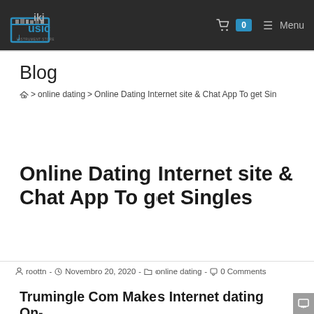Iki Music — 0 Menu
Blog
🏠 > online dating > Online Dating Internet site & Chat App To get Sin
Online Dating Internet site & Chat App To get Singles
roottn - Novembro 20, 2020 - online dating - 0 Comments
Trumingle Com Makes Internet dating On-line Free of charge, Friendly, And...